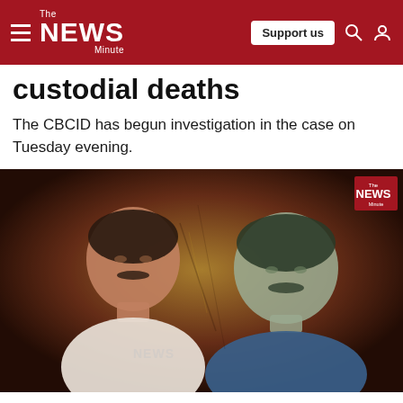The News Minute | Support us
custodial deaths
The CBCID has begun investigation in the case on Tuesday evening.
[Figure (photo): Illustrated composite image of two men against a dark reddish-brown and golden background, with The News Minute logo watermark in top-right corner]